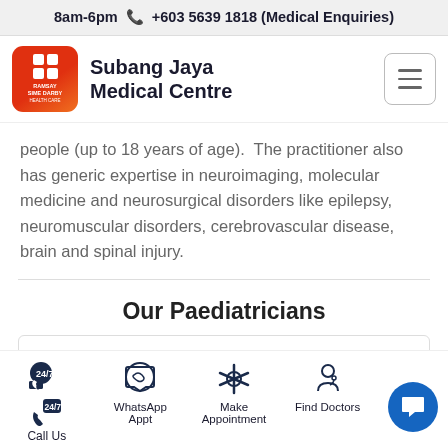8am-6pm ☎ +603 5639 1818 (Medical Enquiries)
[Figure (logo): Ramsay Sime Darby Health Care logo with orange/red background and grid icon]
Subang Jaya Medical Centre
people (up to 18 years of age). The practitioner also has generic expertise in neuroimaging, molecular medicine and neurosurgical disorders like epilepsy, neuromuscular disorders, cerebrovascular disease, brain and spinal injury.
Our Paediatricians
Dr. Sofiah Ali
Call Us | WhatsApp Appt | Make Appointment | Find Doctors